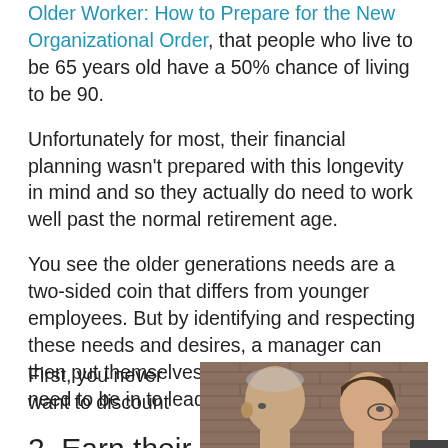Older Worker: How to Prepare for the New Organizational Order, that people who live to be 65 years old have a 50% chance of living to be 90.
Unfortunately for most, their financial planning wasn't prepared with this longevity in mind and so they actually do need to work well past the normal retirement age.
You see the older generations needs are a two-sided coin that differs from younger employees. But by identifying and respecting these needs and desires, a manager can then put themselves in the mind set they'll need to be in to lead.
2. Earn their respect.
First, you never want to discount
[Figure (photo): Two men in profile view, one older with grey/bald head, one younger with dark hair, brick wall in background]